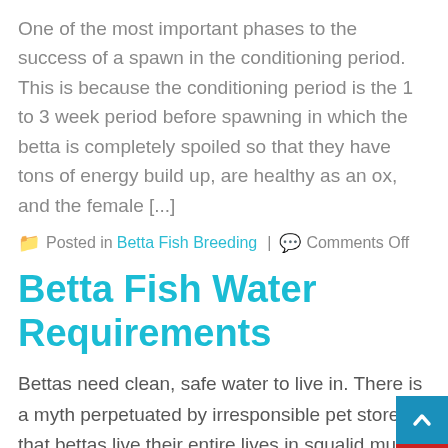One of the most important phases to the success of a spawn in the conditioning period. This is because the conditioning period is the 1 to 3 week period before spawning in which the betta is completely spoiled so that they have tons of energy build up, are healthy as an ox, and the female [...]
Posted in Betta Fish Breeding | Comments Off
Betta Fish Water Requirements
Bettas need clean, safe water to live in. There is a myth perpetuated by irresponsible pet stores that bettas live their entire lives in squalid mud holes. In reality bettas live in thousands of gallons of waters in the rice